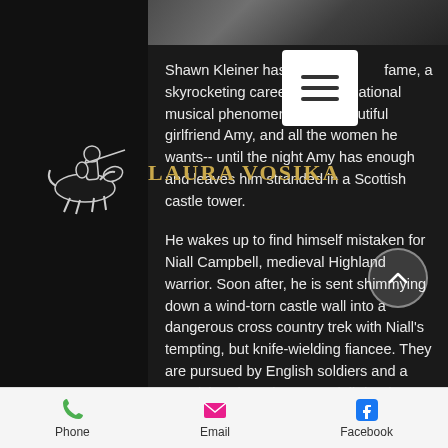[Figure (screenshot): Top portion of a book page image, dark landscape]
[Figure (logo): Knight on horseback logo for Laura Vosika website]
LAURA VOSIKA
[Figure (other): Hamburger menu button (three horizontal lines)]
Shawn Kleiner has it all: fame, a skyrocketing career as an international musical phenomenon, his beautiful girlfriend Amy, and all the women he wants-- until the night Amy has enough and leaves him stranded in a Scottish castle tower.
He wakes up to find himself mistaken for Niall Campbell, medieval Highland warrior. Soon after, he is sent shimmying down a wind-torn castle wall into a dangerous cross country trek with Niall's tempting, but knife-wielding fiancee. They are pursued by English soldiers and a Scottish traitor who want Niall dead.
Thrown forward in time, Niall learns
Phone  Email  Facebook